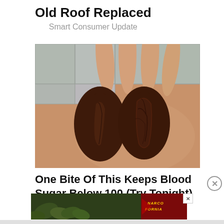Old Roof Replaced
Smart Consumer Update
[Figure (photo): A hand holding two large dried dates (dark brown, wrinkled) against a tiled background]
One Bite Of This Keeps Blood Sugar Below 100 (Try Tonight)
[Figure (screenshot): Advertisement banner: HOW PROGRESSIVES SOLD OUT RURAL TOWNS TO FOREIGN DRUG LORDS - WATCH NOW button - NARCOFORNIA logo]